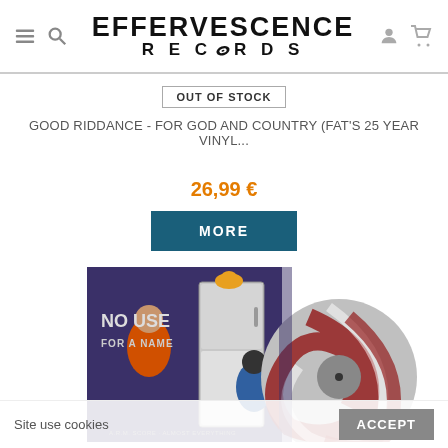EFFERVESCENCE RECORDS
OUT OF STOCK
GOOD RIDDANCE - FOR GOD AND COUNTRY (FAT'S 25 YEAR VINYL...
26,99 €
MORE
[Figure (photo): Album cover for No Use For A Name showing cartoon characters at an open refrigerator, with a red and white marble-swirl vinyl record partially visible to the right.]
Site use cookies
ACCEPT